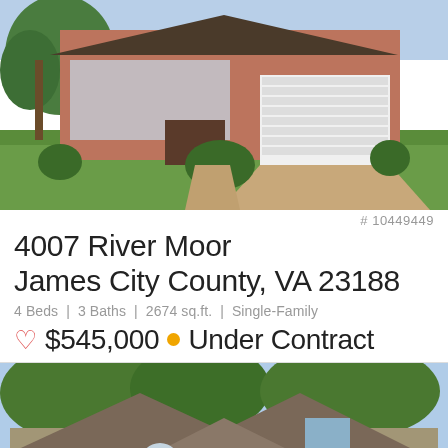[Figure (photo): Exterior photo of a single-family brick home with white garage door, green lawn, trimmed hedges, and a tree on the left.]
# 10449449
4007 River Moor
James City County, VA 23188
4 Beds | 3 Baths | 2674 sq.ft. | Single-Family
♡ $545,000 • Under Contract
[Figure (photo): Exterior photo of a craftsman-style single-family home with tan/gray siding, stone accents, double garage door, and green trees behind.]